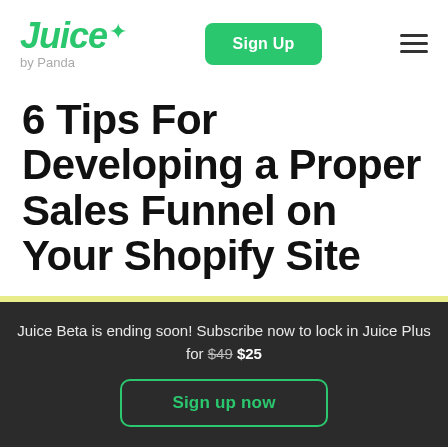Juice by Panda — Sign Up — Navigation
6 Tips For Developing a Proper Sales Funnel on Your Shopify Site
Juice Beta is ending soon! Subscribe now to lock in Juice Plus for $49 $25
Sign up now